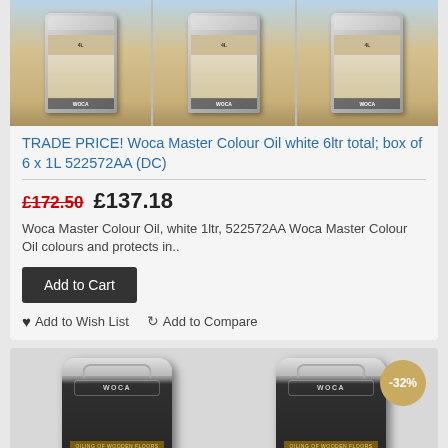[Figure (photo): Three cans/tins of Woca Master Colour Oil white product, shown side by side]
TRADE PRICE! Woca Master Colour Oil white 6ltr total; box of 6 x 1L 522572AA (DC)
£172.50  £137.18
Woca Master Colour Oil, white 1ltr, 522572AA Woca Master Colour Oil colours and protects in..
Add to Cart
Add to Wish List  Add to Compare
[Figure (photo): Two large buckets/pails of Woca Master Colour Oil product side by side, with a -32% discount badge on the right product]